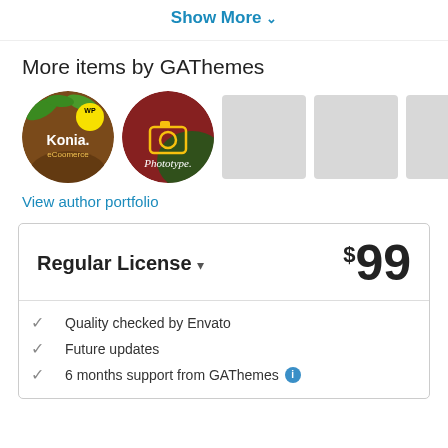Show More ▾
More items by GAThemes
[Figure (illustration): Row of circular thumbnail images for GAThemes portfolio items: Konia eCoomerce (WordPress theme, brown/gold circle with WP badge), Phototype (dark red/green circle with camera icon and script text), followed by three grey placeholder rectangles.]
View author portfolio
Regular License ▾   $99
Quality checked by Envato
Future updates
6 months support from GAThemes ℹ